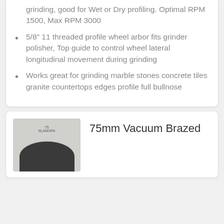grinding, good for Wet or Dry profiling. Optimal RPM 1500, Max RPM 3000
5/8" 11 threaded profile wheel arbor fits grinder polisher, Top guide to control wheel lateral longitudinal movement during grinding
Works great for grinding marble stones concrete tiles granite countertops edges profile full bullnose
[Figure (photo): Product thumbnail showing a dark circular grinding wheel/disc against a light gray background, with a small brand label visible at top center.]
75mm Vacuum Brazed